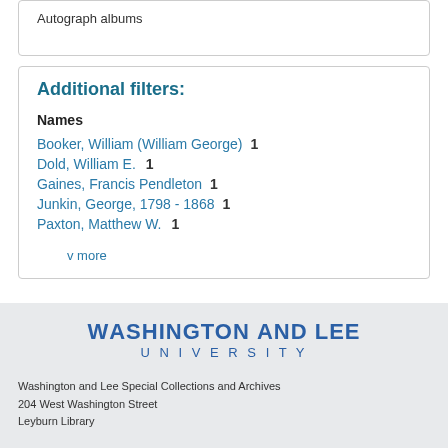Autograph albums
Additional filters:
Names
Booker, William (William George)  1
Dold, William E.  1
Gaines, Francis Pendleton  1
Junkin, George, 1798 - 1868  1
Paxton, Matthew W.  1
v more
[Figure (logo): Washington and Lee University logo with bold text WASHINGTON AND LEE on top line and UNIVERSITY in spaced letters below]
Washington and Lee Special Collections and Archives
204 West Washington Street
Leyburn Library